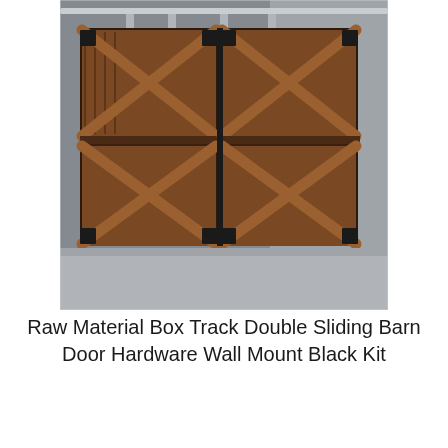[Figure (photo): Photo of two double rustic barn doors with X-pattern wooden planks and black metal hardware, mounted on a box track sliding rail system on a gray textured concrete wall. The doors are dark brown wood with black corner brackets and a center horizontal rail.]
Raw Material Box Track Double Sliding Barn Door Hardware Wall Mount Black Kit